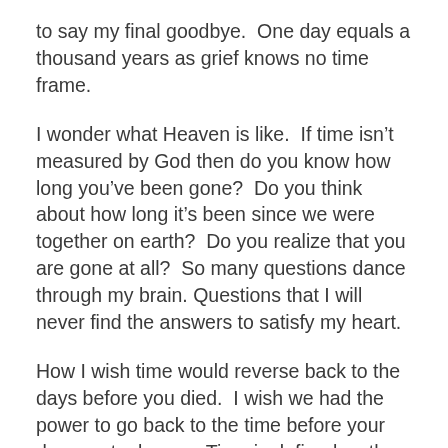to say my final goodbye.  One day equals a thousand years as grief knows no time frame.
I wonder what Heaven is like.  If time isn't measured by God then do you know how long you've been gone?  Do you think about how long it's been since we were together on earth?  Do you realize that you are gone at all?  So many questions dance through my brain.  Questions that I will never find the answers to satisfy my heart.
How I wish time would reverse back to the days before you died.  I wish we had the power to go back to the time before your demons took over.  Time is defined as the ongoing sequence of events taking place.  The past, the present and the future.  What I've learned is we always think we will have enough time.  Time to say the things we should have said.  Time to do the things we wanted to do.  We think we have a future to fix all those